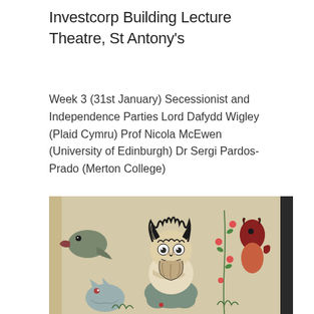Investcorp Building Lecture Theatre, St Antony's
Week 3 (31st January) Secessionist and Independence Parties Lord Dafydd Wigley (Plaid Cymru) Prof Nicola McEwen (University of Edinburgh) Dr Sergi Pardos-Prado (Merton College)
[Figure (illustration): Medieval manuscript illustration showing a wild-haired, bearded demon or devil figure seated centrally with crossed arms, surrounded by other fantastical creatures including a bird-headed figure on the left, a cat-like creature bottom left, a red devil figure top right, and floral decorative elements on the right side.]